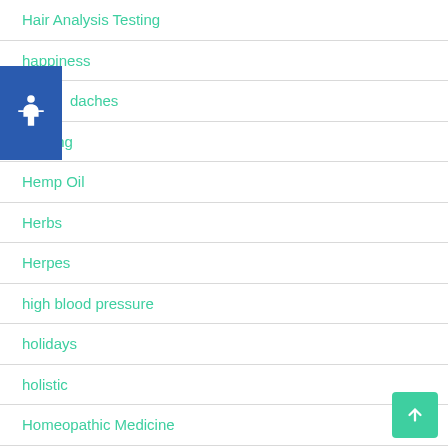Hair Analysis Testing
happiness
headaches
Healing
Hemp Oil
Herbs
Herpes
high blood pressure
holidays
holistic
Homeopathic Medicine
Homeopathy
Hormones